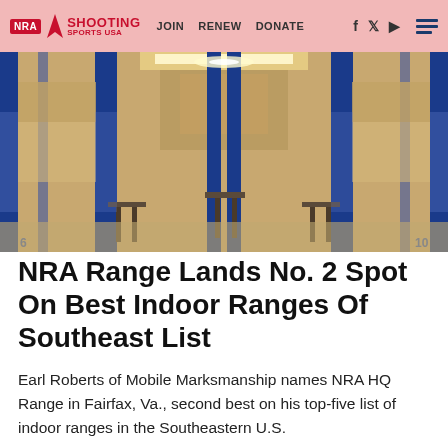NRA EXPLORE | JOIN | RENEW | DONATE — NRA Shooting Sports USA
[Figure (photo): Interior of an indoor shooting range showing multiple shooting lanes with blue partitions, overhead lighting, and shooting benches/platforms receding into the distance.]
NRA Range Lands No. 2 Spot On Best Indoor Ranges Of Southeast List
Earl Roberts of Mobile Marksmanship names NRA HQ Range in Fairfax, Va., second best on his top-five list of indoor ranges in the Southeastern U.S.